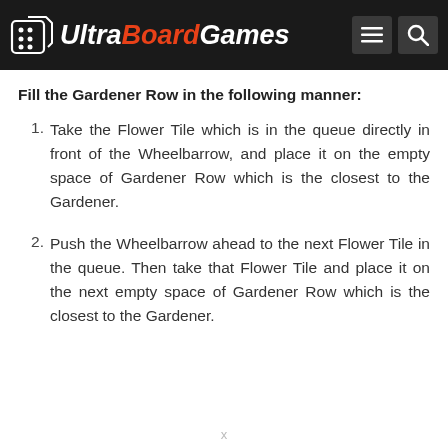Ultra Board Games
Fill the Gardener Row in the following manner:
Take the Flower Tile which is in the queue directly in front of the Wheelbarrow, and place it on the empty space of Gardener Row which is the closest to the Gardener.
Push the Wheelbarrow ahead to the next Flower Tile in the queue. Then take that Flower Tile and place it on the next empty space of Gardener Row which is the closest to the Gardener.